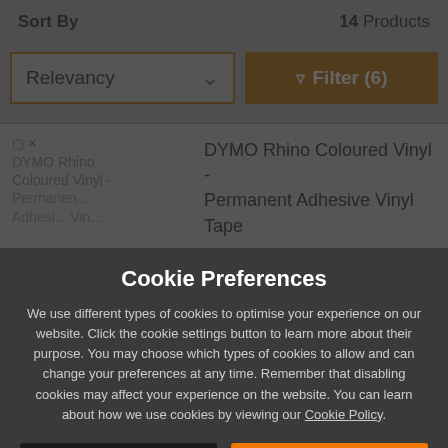Sort By
14 Products
Relevancy
Filter (6)
[Figure (screenshot): Broken image placeholder for DYMO Rhino Coloured Vinyl - Permanent Adhesive Vinyl Tape product]
DYMO Rhino Coloured Vinyl - Permanent Adhesive Vinyl Tape
Cookie Preferences
We use different types of cookies to optimise your experience on our website. Click the cookie settings button to learn more about their purpose. You may choose which types of cookies to allow and can change your preferences at any time. Remember that disabling cookies may affect your experience on the website. You can learn about how we use cookies by viewing our Cookie Policy.
Amend Your Preference
Accept All Cookies